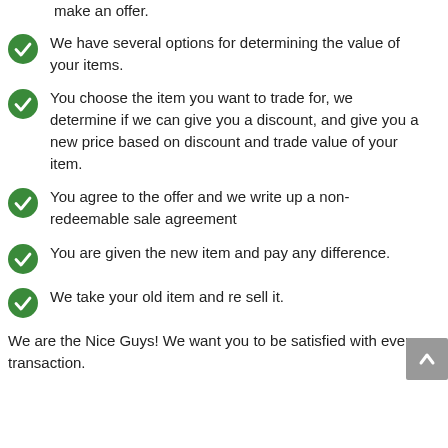make an offer.
We have several options for determining the value of your items.
You choose the item you want to trade for, we determine if we can give you a discount, and give you a new price based on discount and trade value of your item.
You agree to the offer and we write up a non-redeemable sale agreement
You are given the new item and pay any difference.
We take your old item and re sell it.
We are the Nice Guys! We want you to be satisfied with every transaction.